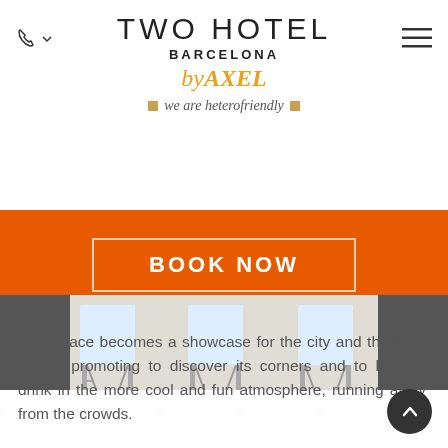TWO HOTEL BARCELONA by AXEL
we are heterofriendly
BOOK NOW
[Figure (photo): Interior photo showing white metal bar stools in a hotel space]
This space becomes a showcase for the city and the local public, promoting to discover its corners and to have a drink in the more cool and fun atmosphere, running away from the crowds.